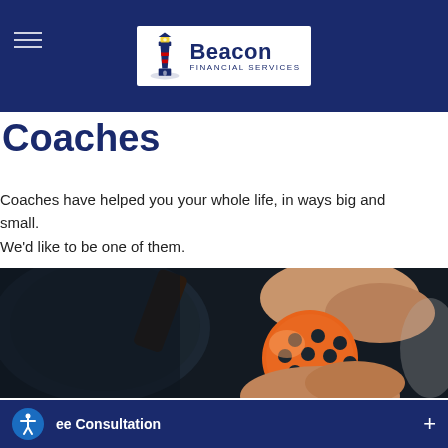Beacon Financial Services
Coaches
Coaches have helped you your whole life, in ways big and small. We'd like to be one of them.
[Figure (photo): Close-up photograph of a person holding a pickleball paddle and an orange wiffle-style pickleball ball]
ee Consultation +